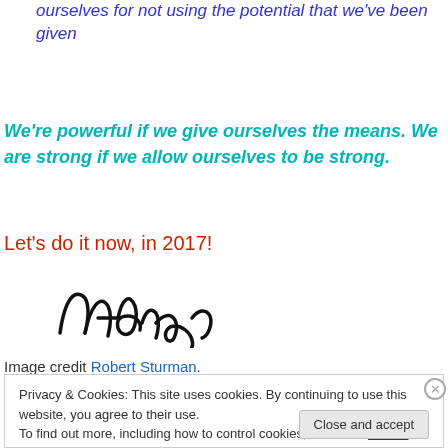ourselves for not using the potential that we've been given
We're powerful if we give ourselves the means. We are strong if we allow ourselves to be strong.
Let's do it now, in 2017!
[Figure (illustration): Handwritten signature reading 'Andrea']
Image credit Robert Sturman.
Privacy & Cookies: This site uses cookies. By continuing to use this website, you agree to their use.
To find out more, including how to control cookies, see here: Cookie Policy